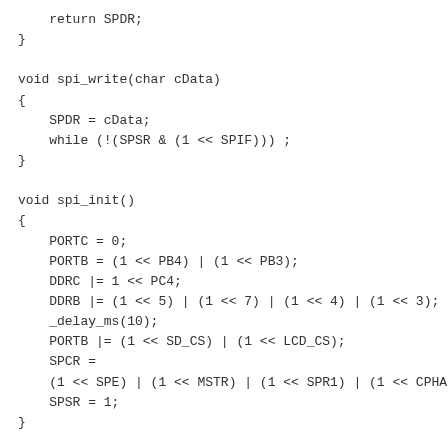return SPDR;
}

void spi_write(char cData)
{
    SPDR = cData;
    while (!(SPSR & (1 << SPIF))) ;
}

void spi_init()
{
    PORTC = 0;
    PORTB = (1 << PB4) | (1 << PB3);
    DDRC |= 1 << PC4;
    DDRB |= (1 << 5) | (1 << 7) | (1 << 4) | (1 << 3);
    _delay_ms(10);
    PORTB |= (1 << SD_CS) | (1 << LCD_CS);
    SPCR =
    (1 << SPE) | (1 << MSTR) | (1 << SPR1) | (1 << CPHA)
    SPSR = 1;
}

void lcd_init()
{

    SPI_OFF;